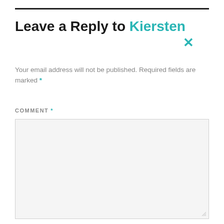Leave a Reply to Kiersten
Your email address will not be published. Required fields are marked *
COMMENT *
[Figure (other): Empty comment text area input box with light gray background and resize handle]